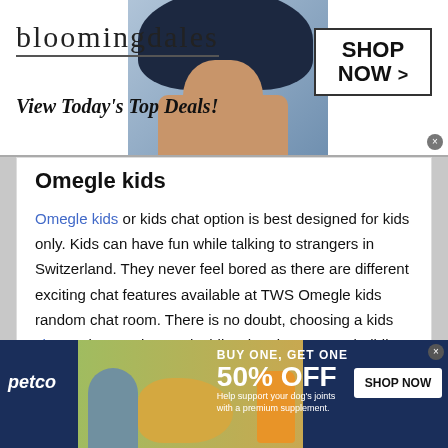[Figure (screenshot): Bloomingdale's advertisement banner: logo text 'bloomingdales', tagline 'View Today's Top Deals!', model with dark hat, and 'SHOP NOW >' button in border box]
Omegle kids
Omegle kids or kids chat option is best designed for kids only. Kids can have fun while talking to strangers in Switzerland. They never feel bored as there are different exciting chat features available at TWS Omegle kids random chat room. There is no doubt, choosing a kids chat option can be worthwhile when it comes to building self-confidence, high self-esteem and social skills.
[Figure (screenshot): Petco advertisement banner: Petco logo, image of person with dog and supplement jar, 'BUY ONE, GET ONE 50% OFF' text, 'Help support your dog's joints with a premium supplement.', SHOP NOW button]